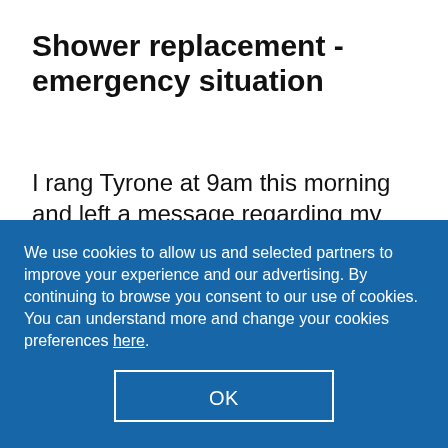Shower replacement - emergency situation
I rang Tyrone at 9am this morning and left a message regarding my broken shower. He immediately texted me back, helped me realised that the replacement shower I had bought wouldn't fit the pipes, and said he could
We use cookies to allow us and selected partners to improve your experience and our advertising. By continuing to browse you consent to our use of cookies. You can understand more and change your cookies preferences here.
OK